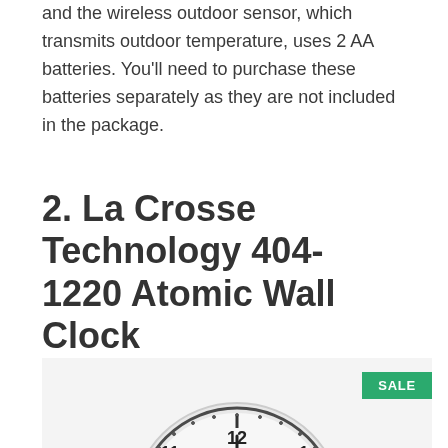and the wireless outdoor sensor, which transmits outdoor temperature, uses 2 AA batteries. You'll need to purchase these batteries separately as they are not included in the package.
2. La Crosse Technology 404-1220 Atomic Wall Clock
[Figure (photo): Product photo of La Crosse Technology 404-1220 Atomic Wall Clock, a round white wall clock with black numerals and a grey/silver rim, partially visible at the bottom of the page. A green SALE badge is visible in the top right of the image.]